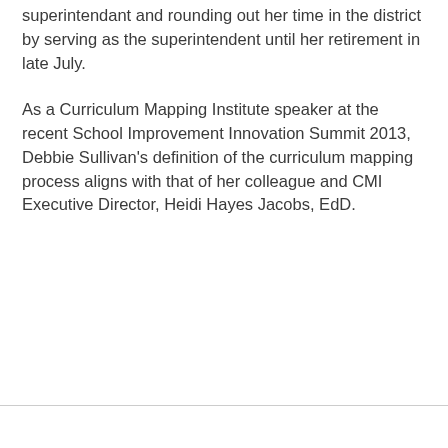superintendant and rounding out her time in the district by serving as the superintendent until her retirement in late July.
As a Curriculum Mapping Institute speaker at the recent School Improvement Innovation Summit 2013, Debbie Sullivan's definition of the curriculum mapping process aligns with that of her colleague and CMI Executive Director, Heidi Hayes Jacobs, EdD.